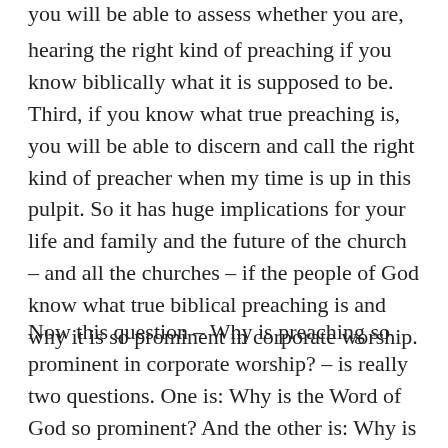you will be able to assess whether you are, in fact, hearing the right kind of preaching if you know biblically what it is supposed to be. Third, if you know what true preaching is, you will be able to discern and call the right kind of preacher when my time is up in this pulpit. So it has huge implications for your life and family and the future of the church – and all the churches – if the people of God know what true biblical preaching is and why it is so prominent in corporate worship.
Now this question – Why is preaching so prominent in corporate worship? – is really two questions. One is: Why is the Word of God so prominent? And the other is: Why is this form of presenting the Word of God so prominent? Someone could simply read the Bible for half an